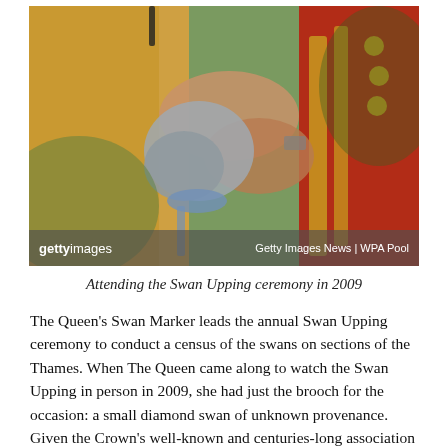[Figure (photo): Close-up photo of a person in a red and gold ceremonial uniform holding a swan's head/beak with both hands. The swan's head appears to be gently restrained. A Getty Images watermark and 'Getty Images News | WPA Pool' credit appear at the bottom of the image.]
Attending the Swan Upping ceremony in 2009
The Queen's Swan Marker leads the annual Swan Upping ceremony to conduct a census of the swans on sections of the Thames. When The Queen came along to watch the Swan Upping in person in 2009, she had just the brooch for the occasion: a small diamond swan of unknown provenance. Given the Crown's well-known and centuries-long association with swans, as well as the